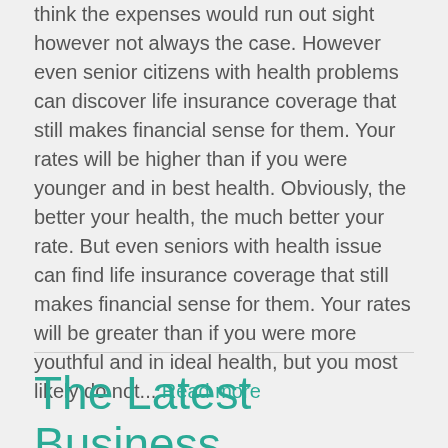think the expenses would run out sight however not always the case. However even senior citizens with health problems can discover life insurance coverage that still makes financial sense for them. Your rates will be higher than if you were younger and in best health. Obviously, the better your health, the much better your rate. But even seniors with health issue can find life insurance coverage that still makes financial sense for them. Your rates will be greater than if you were more youthful and in ideal health, but you most likely do not... Read more
The Latest Business Process Improvement